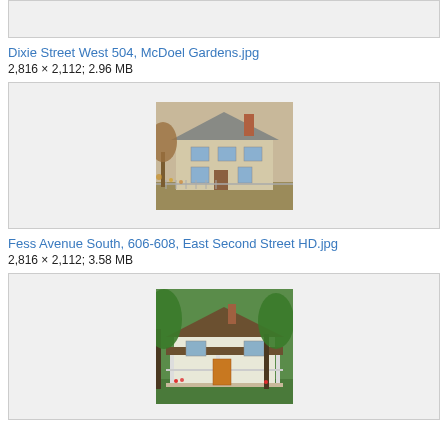[Figure (photo): Top image box (partial, cropped at top of page) showing a house photo]
Dixie Street West 504, McDoel Gardens.jpg
2,816 × 2,112; 2.96 MB
[Figure (photo): Photo of a two-story beige/tan house with trees in autumn, taken from the front. A fence is visible in the foreground.]
Fess Avenue South, 606-608, East Second Street HD.jpg
2,816 × 2,112; 3.58 MB
[Figure (photo): Photo of a small white/light-colored craftsman-style house with a front porch, surrounded by green trees.]